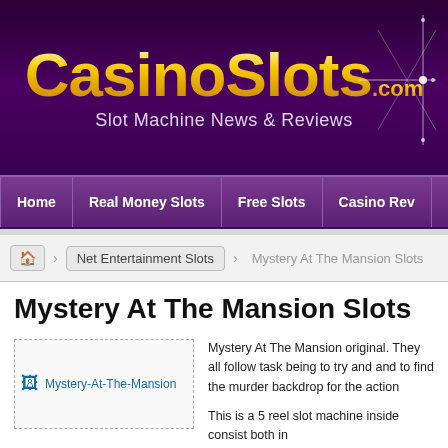CasinoSlots.com — Slot Machine News & Reviews
Home | Real Money Slots | Free Slots | Casino Rev
Net Entertainment Slots > Mystery At The Mansion Slots
Mystery At The Mansion Slots
[Figure (photo): Mystery-At-The-Mansion image placeholder]
Mystery At The Man... original. They all follo... task being to try and ... and to find the murde... backdrop for the acti...

This is a 5 reel slot m... inside consist both in...